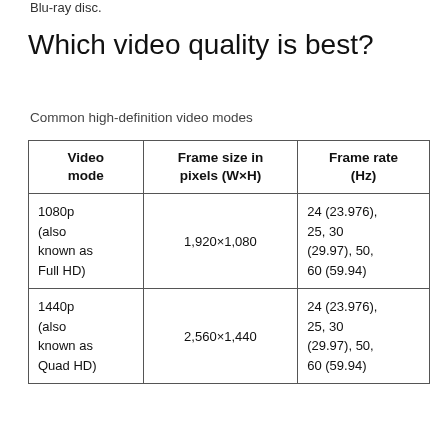Blu-ray disc.
Which video quality is best?
Common high-definition video modes
| Video mode | Frame size in pixels (W×H) | Frame rate (Hz) |
| --- | --- | --- |
| 1080p (also known as Full HD) | 1,920×1,080 | 24 (23.976), 25, 30 (29.97), 50, 60 (59.94) |
| 1440p (also known as Quad HD) | 2,560×1,440 | 24 (23.976), 25, 30 (29.97), 50, 60 (59.94) |